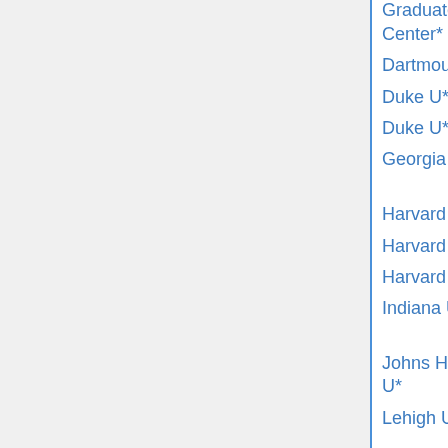| Institution | Type | Date | Status |
| --- | --- | --- | --- |
| CUNY Graduate Center* | various | Jan 31 |  |
| Dartmouth C* | Young | Jan 5 |  |
| Duke U* | postdoc | Dec 1 | filled b |
| Duke U* | applied | Dec 1 |  |
| Georgia Tech* |  |  | not offered |
| Harvard U* | BP | Dec 6 | rejected |
| Harvard U | Jr Fellow | Sep 5 |  |
| Harvard U (a) | various |  |  |
| Indiana U* | Zorn | Dec 15 | filled b |
| Johns Hopkins U* | Sylvester | Nov 17 |  |
| Lehigh U |  |  | not offered |
| Kansas State U |  |  | not offered |
| Louisiana State U* | postdoc | Jan 2 | filled ( |